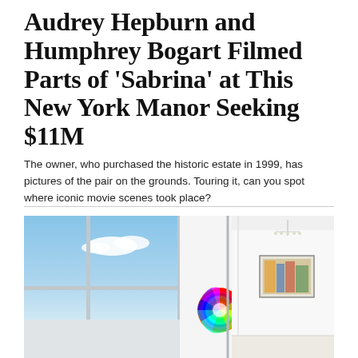Audrey Hepburn and Humphrey Bogart Filmed Parts of 'Sabrina' at This New York Manor Seeking $11M
The owner, who purchased the historic estate in 1999, has pictures of the pair on the grounds. Touring it, can you spot where iconic movie scenes took place?
[Figure (photo): Interior photo of a bright modern room with large floor-to-ceiling windows showing a blue sky with clouds. On the left side is a colorful circular color wheel artwork. On the right side is a white room with a framed artwork on the wall and a chandelier.]